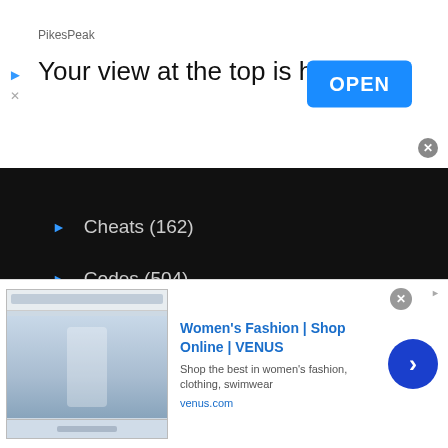[Figure (screenshot): Top advertisement banner: PikesPeak brand, headline 'Your view at the top is here', blue OPEN button, play and close icons]
Cheats (162)
Codes (504)
Commands (114)
Controls (226)
Guides (1,501)
ID's (28)
List (158)
[Figure (screenshot): Bottom advertisement banner: Women's Fashion | Shop Online | VENUS, Shop the best in women's fashion, clothing, swimwear, venus.com, with thumbnail image and blue arrow button]